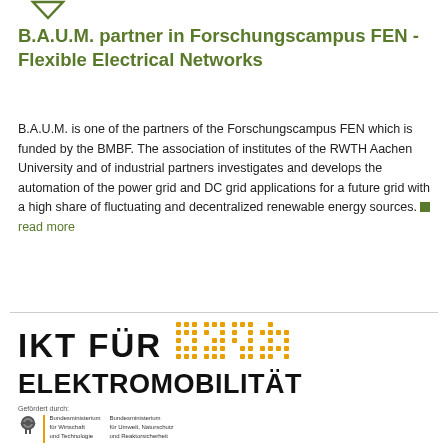[Figure (logo): Small green downward arrow/chevron at top]
B.A.U.M. partner in Forschungscampus FEN - Flexible Electrical Networks
B.A.U.M. is one of the partners of the Forschungscampus FEN which is funded by the BMBF. The association of institutes of the RWTH Aachen University and of industrial partners investigates and develops the automation of the power grid and DC grid applications for a future grid with a high share of fluctuating and decentralized renewable energy sources. ■ read more
[Figure (logo): IKT FÜR ELEKTROMOBILITÄT logo with orange dot-matrix graphic element, Gefördert durch ministry logos (Bundesministerium für Wirtschaft und Technologie and Bundesministerium für Umwelt, Naturschutz und Reaktorsicherheit) with German eagle. Text: aufgrund eines Beschlusses des Deutschen Bundestages]